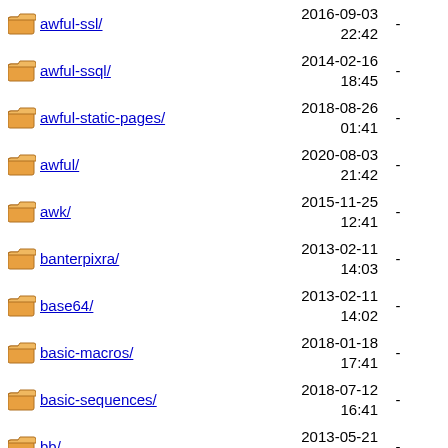awful-ssl/ 2016-09-03 22:42 -
awful-ssql/ 2014-02-16 18:45 -
awful-static-pages/ 2018-08-26 01:41 -
awful/ 2020-08-03 21:42 -
awk/ 2015-11-25 12:41 -
banterpixra/ 2013-02-11 14:03 -
base64/ 2013-02-11 14:02 -
basic-macros/ 2018-01-18 17:41 -
basic-sequences/ 2018-07-12 16:41 -
bb/ 2013-05-21 09:45 -
begin-syntax/ 2016-06-09 09:41 -
bencode/ 2021-01-25